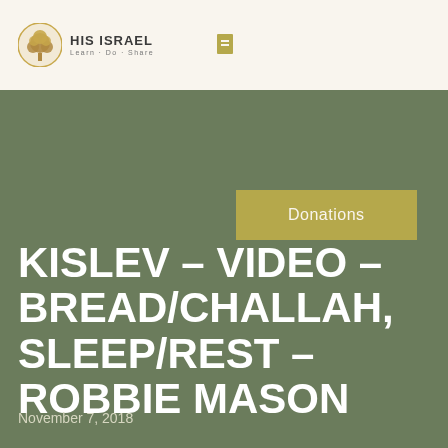[Figure (logo): His Israel logo with tree icon and tagline Learn-Do-Share]
Donations
KISLEV – VIDEO – BREAD/CHALLAH, SLEEP/REST – ROBBIE MASON
November 7, 2018